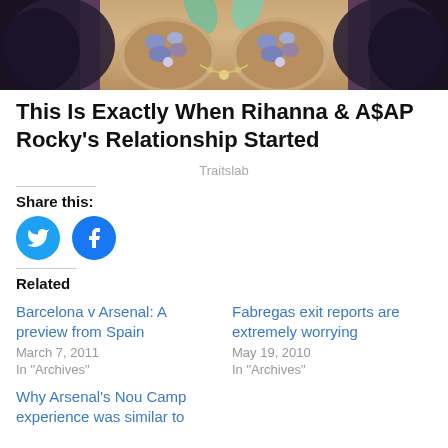[Figure (photo): Close-up photo of a woman wearing a jeweled/gem-encrusted bra top with feathered wings in background]
This Is Exactly When Rihanna & A$AP Rocky's Relationship Started
Traitslab
Share this:
[Figure (other): Twitter and Facebook share buttons (blue circles with icons)]
Related
Barcelona v Arsenal: A preview from Spain
March 7, 2011
In "Archives"
Fabregas exit reports are extremely worrying
May 19, 2010
In "Archives"
Why Arsenal's Nou Camp experience was similar to